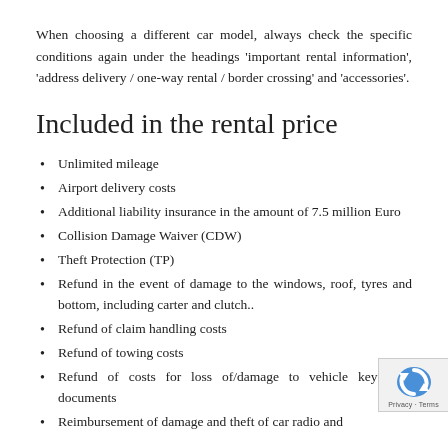When choosing a different car model, always check the specific conditions again under the headings 'important rental information', 'address delivery / one-way rental / border crossing' and 'accessories'.
Included in the rental price
Unlimited mileage
Airport delivery costs
Additional liability insurance in the amount of 7.5 million Euro
Collision Damage Waiver (CDW)
Theft Protection (TP)
Refund in the event of damage to the windows, roof, tyres and bottom, including carter and clutch..
Refund of claim handling costs
Refund of towing costs
Refund of costs for loss of/damage to vehicle keys and documents
Reimbursement of damage and theft of car radio and